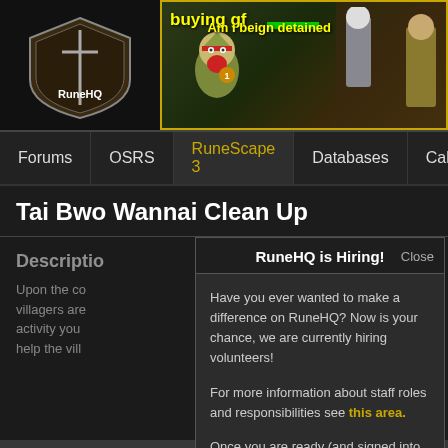[Figure (logo): RuneHQ logo - shield with sword and RuneHQ text]
[Figure (screenshot): RuneScape game banner showing a character with 'buying gf' text in yellow, health bar in green, and 'Am i beign detained' text on right side]
Forums | OSRS | RuneScape 3 | Databases | Calculators | T...
Tai Bwo Wannai Clean Up
Description
Upon the co... villagers are... activity you... help the vill...
RuneHQ is Hiring!
Have you ever wanted to make a difference on RuneHQ? Now is your chance, we are currently hiring volunteers!
For more information about staff roles and responsibilities see this area.
Once you are ready (and signed into the forums), you can find open applications on the navigation bar at the top of the forums.